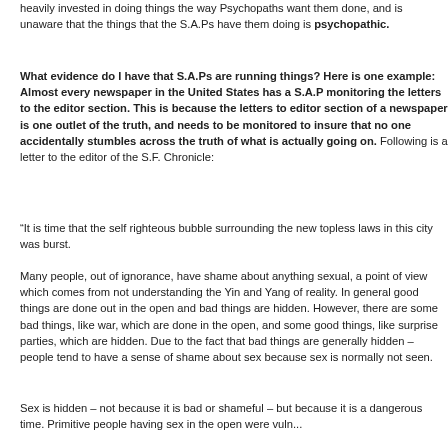heavily invested in doing things the way Psychopaths want them done, and is unaware that the things that the S.A.Ps have them doing is psychopathic.
What evidence do I have that S.A.Ps are running things? Here is one example: Almost every newspaper in the United States has a S.A.P monitoring the letters to the editor section. This is because the letters to editor section of a newspaper is one outlet of the truth, and needs to be monitored to insure that no one accidentally stumbles across the truth of what is actually going on. Following is a letter to the editor of the S.F. Chronicle:
“It is time that the self righteous bubble surrounding the new topless laws in this city was burst.
Many people, out of ignorance, have shame about anything sexual, a point of view which comes from not understanding the Yin and Yang of reality. In general good things are done out in the open and bad things are hidden. However, there are some bad things, like war, which are done in the open, and some good things, like surprise parties, which are hidden. Due the fact that bad things are generally hidden – people tend to have a sense of shame about sex because sex is normally not seen.
Sex is hidden – not because it is bad or shameful – but because it is a dangerous time. Primitive people having sex in the open were vuln...